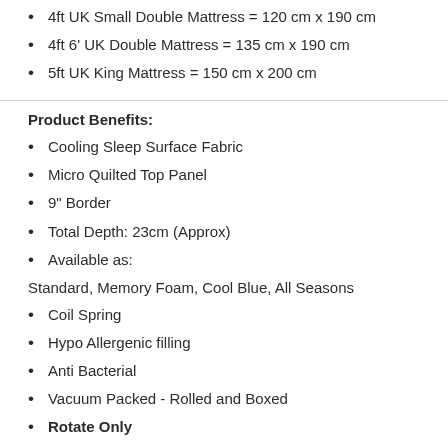4ft UK Small Double Mattress = 120 cm x 190 cm
4ft 6' UK Double Mattress = 135 cm x 190 cm
5ft UK King Mattress = 150 cm x 200 cm
Product Benefits:
Cooling Sleep Surface Fabric
Micro Quilted Top Panel
9" Border
Total Depth: 23cm (Approx)
Available as:
Standard, Memory Foam, Cool Blue, All Seasons
Coil Spring
Hypo Allergenic filling
Anti Bacterial
Vacuum Packed - Rolled and Boxed
Rotate Only